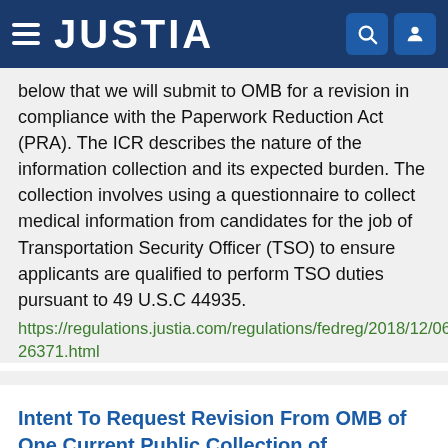JUSTIA
below that we will submit to OMB for a revision in compliance with the Paperwork Reduction Act (PRA). The ICR describes the nature of the information collection and its expected burden. The collection involves using a questionnaire to collect medical information from candidates for the job of Transportation Security Officer (TSO) to ensure applicants are qualified to perform TSO duties pursuant to 49 U.S.C 44935.
https://regulations.justia.com/regulations/fedreg/2018/12/06/2018-26371.html
Intent To Request Revision From OMB of One Current Public Collection of Information: Law Enforcement/Federal Air Marshal Service Physical and Mental Health Certification
Document Number: 2018-26370
Type: Notice